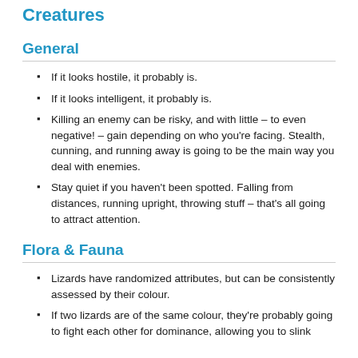Creatures
General
If it looks hostile, it probably is.
If it looks intelligent, it probably is.
Killing an enemy can be risky, and with little – to even negative! – gain depending on who you're facing. Stealth, cunning, and running away is going to be the main way you deal with enemies.
Stay quiet if you haven't been spotted. Falling from distances, running upright, throwing stuff – that's all going to attract attention.
Flora & Fauna
Lizards have randomized attributes, but can be consistently assessed by their colour.
If two lizards are of the same colour, they're probably going to fight each other for dominance, allowing you to slink